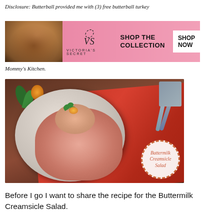Disclosure: Butterball provided me with (3) free butterball turkey cha... wo... ith Mommy's Kitchen.
[Figure (photo): Victoria's Secret advertisement banner with a woman model, VS logo, 'SHOP THE COLLECTION' text, and 'SHOP NOW' button on pink background]
[Figure (photo): Plate of Buttermilk Creamsicle Salad (orange/pink creamy salad) garnished with mint leaves and peach slices on a white decorative plate, with spoons on red cloth and wooden table. A dashed-circle label reads 'Buttermilk Creamsicle Salad'.]
Before I go I want to share the recipe for the Buttermilk Creamsicle Salad.